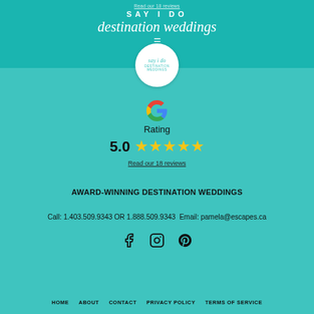Read our 18 reviews
SAY I DO destination weddings
[Figure (logo): Say I Do Destination Weddings circular logo with script text]
[Figure (logo): Google G logo icon]
Rating
5.0 ★★★★★
Read our 18 reviews
AWARD-WINNING DESTINATION WEDDINGS
Call: 1.403.509.9343 OR 1.888.509.9343  Email: pamela@escapes.ca
[Figure (illustration): Social media icons: Facebook, Instagram, Pinterest]
HOME   ABOUT   CONTACT   PRIVACY POLICY   TERMS OF SERVICE